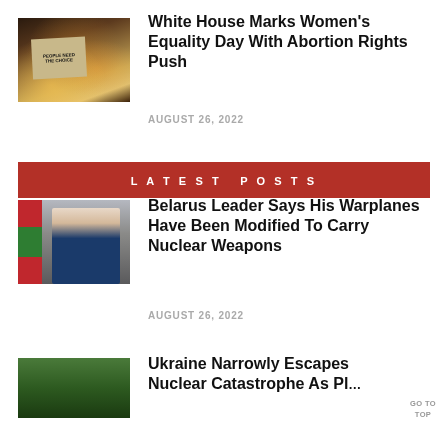[Figure (photo): Protest crowd with a person holding a sign reading PEOPLE NEED THE CHOICE, warm orange/amber lighting]
White House Marks Women’s Equality Day With Abortion Rights Push
AUGUST 26, 2022
LATEST POSTS
[Figure (photo): Official figure seated before a red and green flag (Belarus), wearing a dark suit]
Belarus Leader Says His Warplanes Have Been Modified To Carry Nuclear Weapons
AUGUST 26, 2022
[Figure (photo): Aerial or satellite image of a forested/green area, related to nuclear plant]
Ukraine Narrowly Escapes Nuclear Catastrophe As Pl…